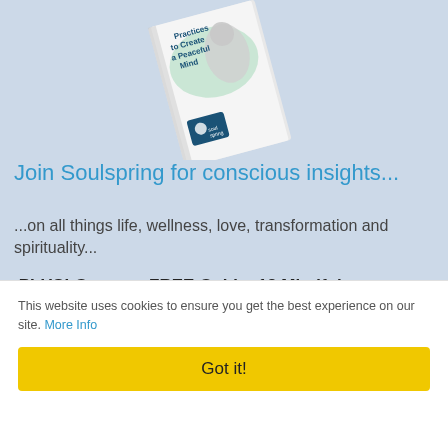[Figure (illustration): A book cover titled 'Practices to Create a Peaceful Mind' with a Soulspring logo, shown angled on a light blue background.]
Join Soulspring for conscious insights...
...on all things life, wellness, love, transformation and spirituality...
PLUS! Get your FREE Guide: 12 Mindfulness Practices to a Peaceful Mind
Enter Your First Name
This website uses cookies to ensure you get the best experience on our site. More Info
Got it!